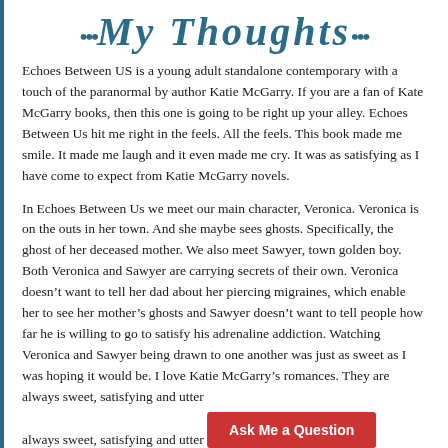...My Thoughts...
Echoes Between US is a young adult standalone contemporary with a touch of the paranormal by author Katie McGarry. If you are a fan of Kate McGarry books, then this one is going to be right up your alley. Echoes Between Us hit me right in the feels. All the feels. This book made me smile. It made me laugh and it even made me cry. It was as satisfying as I have come to expect from Katie McGarry novels.
In Echoes Between Us we meet our main character, Veronica. Veronica is on the outs in her town. And she maybe sees ghosts. Specifically, the ghost of her deceased mother. We also meet Sawyer, town golden boy. Both Veronica and Sawyer are carrying secrets of their own. Veronica doesn’t want to tell her dad about her piercing migraines, which enable her to see her mother’s ghosts and Sawyer doesn’t want to tell people how far he is willing to go to satisfy his adrenaline addiction. Watching Veronica and Sawyer being drawn to one another was just as sweet as I was hoping it would be. I love Katie McGarry’s romances. They are always sweet, satisfying and utter... McGarry is